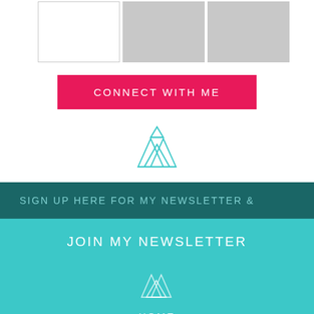[Figure (other): Three image placeholders at top: one outlined box and two gray filled boxes]
CONNECT WITH ME
[Figure (illustration): Three overlapping mountain/triangle logo outline in teal/dark color]
SIGN UP HERE FOR MY NEWSLETTER &
JOIN MY NEWSLETTER
[Figure (illustration): Three overlapping mountain/triangle logo outline in white on teal background]
HOME
WORK WITH ME
CONNECT